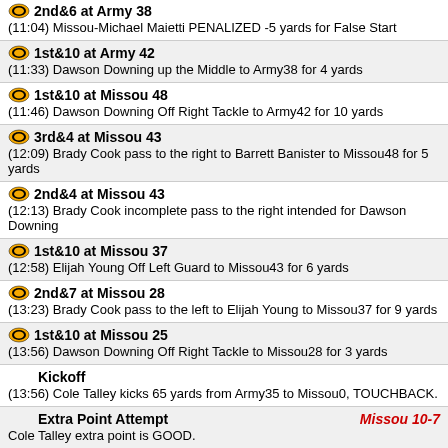2nd&6 at Army 38
(11:04) Missou-Michael Maietti PENALIZED -5 yards for False Start
1st&10 at Army 42
(11:33) Dawson Downing up the Middle to Army38 for 4 yards
1st&10 at Missou 48
(11:46) Dawson Downing Off Right Tackle to Army42 for 10 yards
3rd&4 at Missou 43
(12:09) Brady Cook pass to the right to Barrett Banister to Missou48 for 5 yards
2nd&4 at Missou 43
(12:13) Brady Cook incomplete pass to the right intended for Dawson Downing
1st&10 at Missou 37
(12:58) Elijah Young Off Left Guard to Missou43 for 6 yards
2nd&7 at Missou 28
(13:23) Brady Cook pass to the left to Elijah Young to Missou37 for 9 yards
1st&10 at Missou 25
(13:56) Dawson Downing Off Right Tackle to Missou28 for 3 yards
Kickoff
(13:56) Cole Talley kicks 65 yards from Army35 to Missou0, TOUCHBACK.
Extra Point Attempt — Missou 10-7
Cole Talley extra point is GOOD.